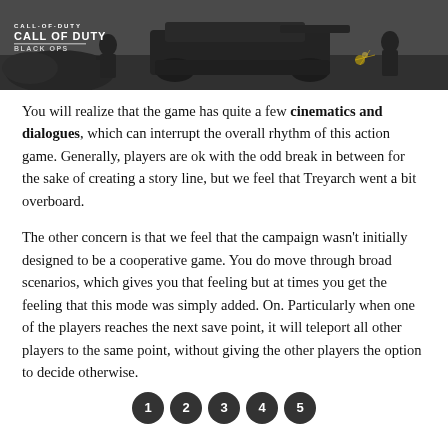[Figure (photo): Call of Duty: Black Ops screenshot/promotional image showing soldiers near military vehicle in a dark scene. Logo visible in top-left corner.]
You will realize that the game has quite a few cinematics and dialogues, which can interrupt the overall rhythm of this action game. Generally, players are ok with the odd break in between for the sake of creating a story line, but we feel that Treyarch went a bit overboard.
The other concern is that we feel that the campaign wasn't initially designed to be a cooperative game. You do move through broad scenarios, which gives you that feeling but at times you get the feeling that this mode was simply added. On. Particularly when one of the players reaches the next save point, it will teleport all other players to the same point, without giving the other players the option to decide otherwise.